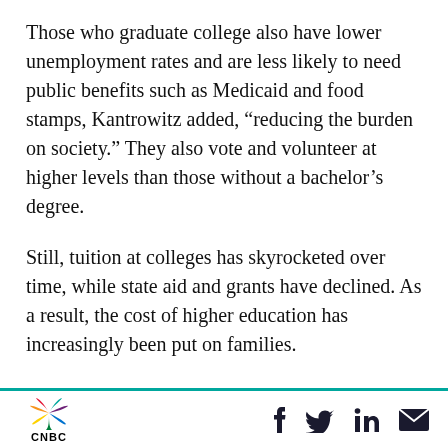Those who graduate college also have lower unemployment rates and are less likely to need public benefits such as Medicaid and food stamps, Kantrowitz added, “reducing the burden on society.” They also vote and volunteer at higher levels than those without a bachelor’s degree.
Still, tuition at colleges has skyrocketed over time, while state aid and grants have declined. As a result, the cost of higher education has increasingly been put on families.
The average loan balance at graduation has
CNBC logo with social media icons: Facebook, Twitter, LinkedIn, Email